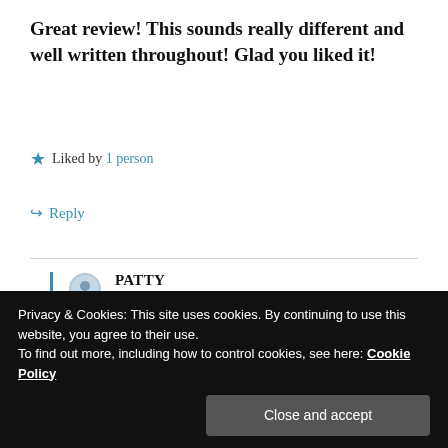Great review! This sounds really different and well written throughout! Glad you liked it!
★ Liked by 1 person
↳ Reply
PATTY
November 3, 2020 at 7:34 pm
Loved it thanks for allowing me to be on the tour.
Privacy & Cookies: This site uses cookies. By continuing to use this website, you agree to their use.
To find out more, including how to control cookies, see here: Cookie Policy
Close and accept